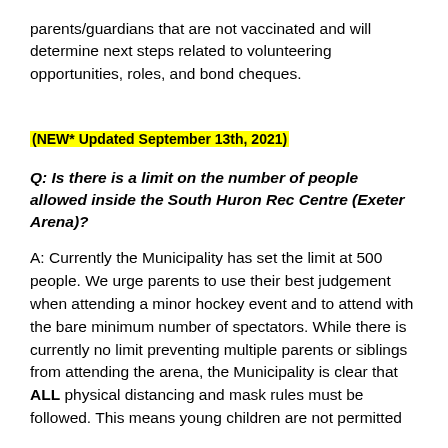parents/guardians that are not vaccinated and will determine next steps related to volunteering opportunities, roles, and bond cheques.
(NEW* Updated September 13th, 2021)
Q: Is there is a limit on the number of people allowed inside the South Huron Rec Centre (Exeter Arena)?
A: Currently the Municipality has set the limit at 500 people. We urge parents to use their best judgement when attending a minor hockey event and to attend with the bare minimum number of spectators. While there is currently no limit preventing multiple parents or siblings from attending the arena, the Municipality is clear that ALL physical distancing and mask rules must be followed. This means young children are not permitted to be present throughout the arena, but teenagers are not